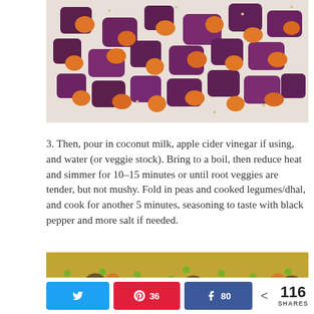[Figure (photo): Close-up photo of roasted beets and carrots on a white plate, with sesame seeds and seasonings visible.]
3. Then, pour in coconut milk, apple cider vinegar if using, and water (or veggie stock). Bring to a boil, then reduce heat and simmer for 10–15 minutes or until root veggies are tender, but not mushy. Fold in peas and cooked legumes/dhal, and cook for another 5 minutes, seasoning to taste with black pepper and more salt if needed.
[Figure (photo): Close-up photo of a cooked vegetable and legume curry dish with green peas, mushrooms, and carrots visible.]
Twitter share button | Pinterest 36 | Facebook 80 | < 116 SHARES